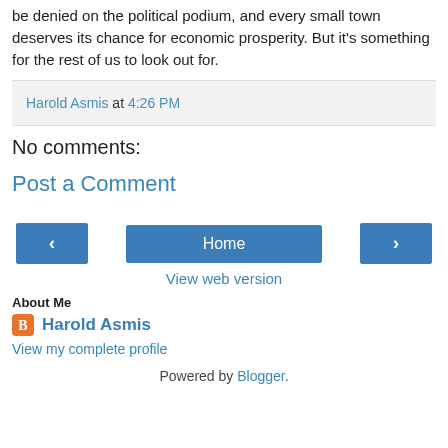be denied on the political podium, and every small town deserves its chance for economic prosperity. But it's something for the rest of us to look out for.
Harold Asmis at 4:26 PM
No comments:
Post a Comment
[Figure (other): Navigation buttons: left arrow, Home, right arrow]
View web version
About Me
Harold Asmis
View my complete profile
Powered by Blogger.